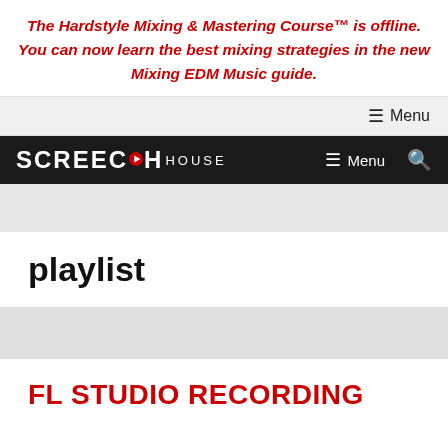The Hardstyle Mixing & Mastering Course™ is offline. You can now learn the best mixing strategies in the new Mixing EDM Music guide.
≡ Menu
[Figure (logo): Screech House logo on black navigation bar with menu and search icons]
playlist
FL STUDIO RECORDING